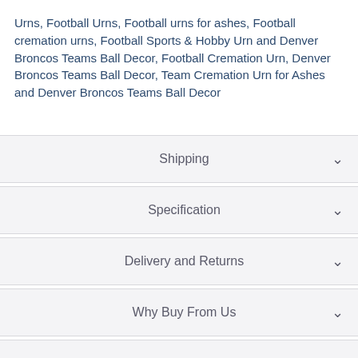Urns, Football Urns, Football urns for ashes, Football cremation urns, Football Sports & Hobby Urn and Denver Broncos Teams Ball Decor, Football Cremation Urn, Denver Broncos Teams Ball Decor, Team Cremation Urn for Ashes and Denver Broncos Teams Ball Decor
Shipping
Specification
Delivery and Returns
Why Buy From Us
Reviews